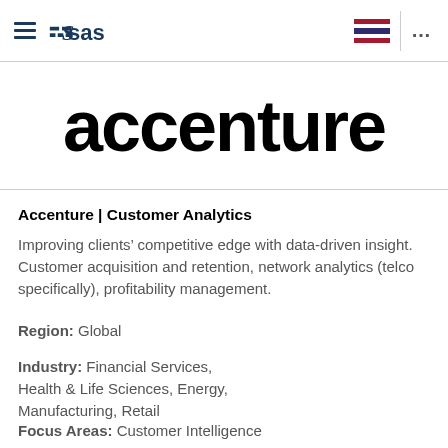SAS (hamburger menu icon + SAS logo) | Thai flag | ...
[Figure (logo): Accenture logo in large bold black lowercase text]
Accenture | Customer Analytics
Improving clients’ competitive edge with data-driven insight. Customer acquisition and retention, network analytics (telco specifically), profitability management.
Region: Global
Industry: Financial Services, Health & Life Sciences, Energy, Manufacturing, Retail
Focus Areas: Customer Intelligence